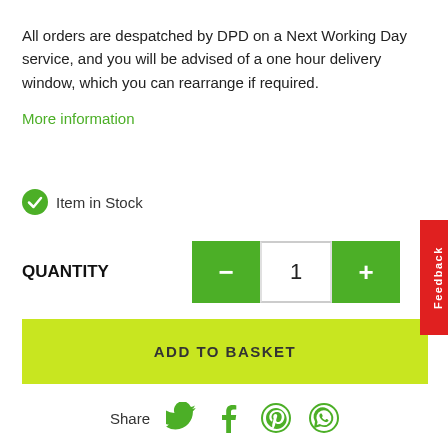All orders are despatched by DPD on a Next Working Day service, and you will be advised of a one hour delivery window, which you can rearrange if required.
More information
Item in Stock
QUANTITY
ADD TO BASKET
Share
PRODUCT INFO